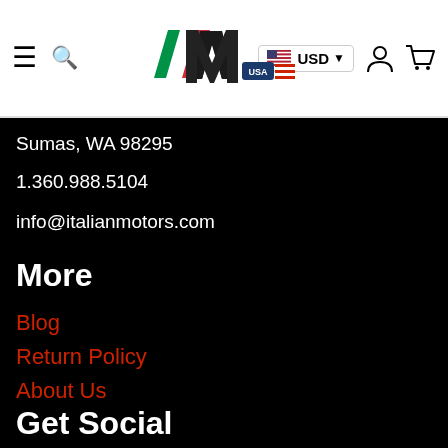≡ 🔍  [Italian Motors USA logo]  🇺🇸 USD ▾  👤  🛒
Sumas, WA 98295
1.360.988.5104
info@italianmotors.com
More
Blog
Return Policy
About Us
Get Social